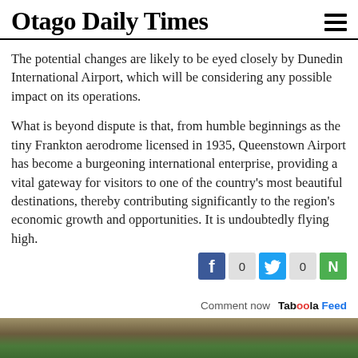Otago Daily Times
The potential changes are likely to be eyed closely by Dunedin International Airport, which will be considering any possible impact on its operations.
What is beyond dispute is that, from humble beginnings as the tiny Frankton aerodrome licensed in 1935, Queenstown Airport has become a burgeoning international enterprise, providing a vital gateway for visitors to one of the country's most beautiful destinations, thereby contributing significantly to the region's economic growth and opportunities. It is undoubtedly flying high.
[Figure (infographic): Social sharing bar with Facebook icon (count: 0), Twitter icon (count: 0), and a green share icon]
Taboola Feed  Comment now
[Figure (photo): Partial bottom photo showing a building and trees, cropped]